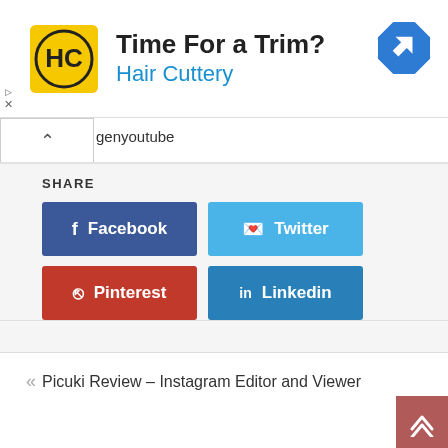[Figure (screenshot): Advertisement banner for Hair Cuttery with logo, headline 'Time For a Trim?', subtitle 'Hair Cuttery', and a blue diamond navigation icon]
genyoutube
SHARE
Facebook
Twitter
Pinterest
Linkedin
« Picuki Review – Instagram Editor and Viewer